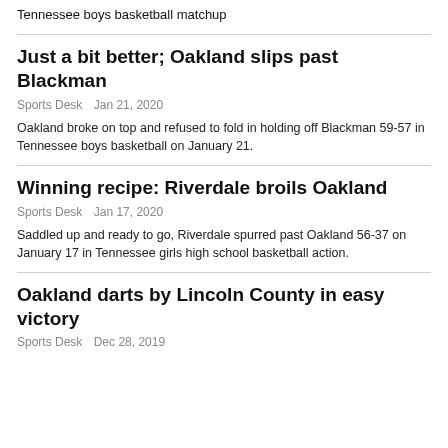Oakland edged LaVergne in a close 56-45 encounter in a Tennessee boys basketball matchup
Just a bit better; Oakland slips past Blackman
Sports Desk   Jan 21, 2020
Oakland broke on top and refused to fold in holding off Blackman 59-57 in Tennessee boys basketball on January 21.
Winning recipe: Riverdale broils Oakland
Sports Desk   Jan 17, 2020
Saddled up and ready to go, Riverdale spurred past Oakland 56-37 on January 17 in Tennessee girls high school basketball action.
Oakland darts by Lincoln County in easy victory
Sports Desk   Dec 28, 2019